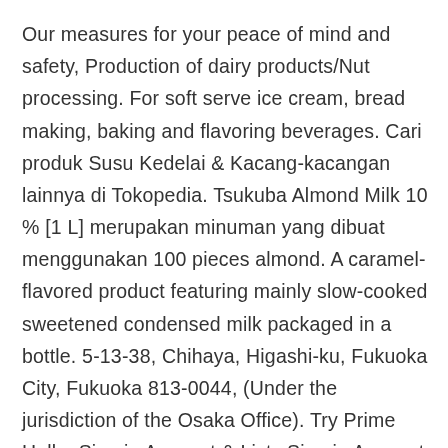Our measures for your peace of mind and safety, Production of dairy products/Nut processing. For soft serve ice cream, bread making, baking and flavoring beverages. Cari produk Susu Kedelai & Kacang-kacangan lainnya di Tokopedia. Tsukuba Almond Milk 10 % [1 L] merupakan minuman yang dibuat menggunakan 100 pieces almond. A caramel-flavored product featuring mainly slow-cooked sweetened condensed milk packaged in a bottle. 5-13-38, Chihaya, Higashi-ku, Fukuoka City, Fukuoka 813-0044, (Under the jurisdiction of the Osaka Office). Try Prime Hello, Sign in Account & Lists Sign in Account & Lists Orders Try Prime Cart. All Rights Reserved. Use it in substitution for regular or soy milk and as an ingredient for processed food, savory dishes and desserts. Deskripsi TSUKUBA ROASTED ALMOND MILK 1000 ML SUSU ALMOND. Jual Beli SHOEI Tsukuba Almond Milk 10 10 1l/Str Peruses Home Best side